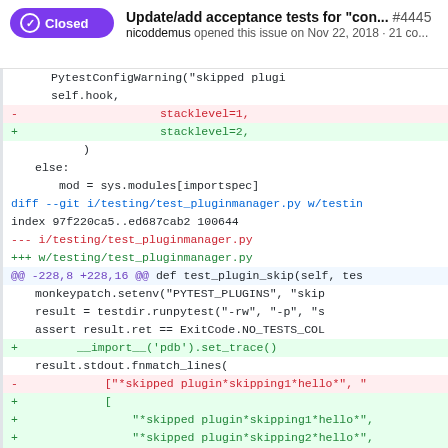Update/add acceptance tests for "con..." #4445 — nicoddemus opened this issue on Nov 22, 2018 · 21 co...
Code diff showing changes to testing/test_pluginmanager.py including stacklevel changes and fnmatch_lines modifications